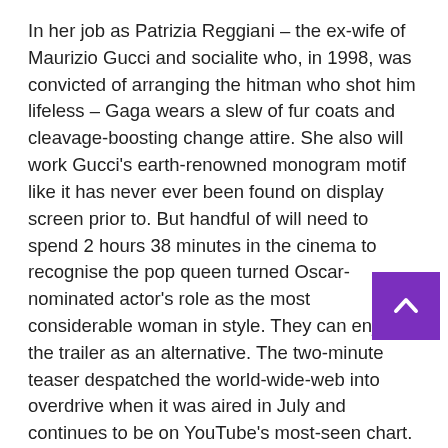In her job as Patrizia Reggiani – the ex-wife of Maurizio Gucci and socialite who, in 1998, was convicted of arranging the hitman who shot him lifeless – Gaga wears a slew of fur coats and cleavage-boosting change attire. She also will work Gucci's earth-renowned monogram motif like it has never ever been found on display screen prior to. But handful of will need to spend 2 hours 38 minutes in the cinema to recognise the pop queen turned Oscar-nominated actor's role as the most considerable woman in style. They can enjoy the trailer as an alternative. The two-minute teaser despatched the world-wide-web into overdrive when it was aired in July and continues to be on YouTube's most-seen chart.
With a wardrobe masterminded by the costume designer Jenty Yates, the movie has piqued the interest of vogue enthusiasts all around the globe. The fashion system Lyst accredits a surge in queries for Gucci (up by 173%) to Gaga. Gucci's bosses, who